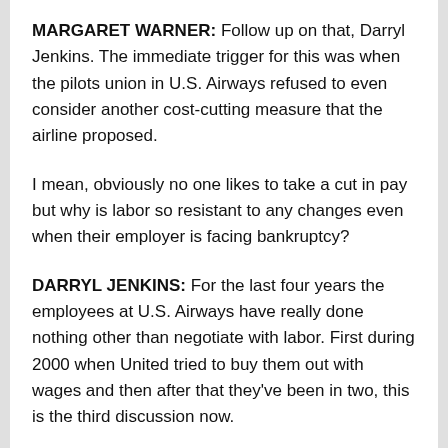MARGARET WARNER: Follow up on that, Darryl Jenkins. The immediate trigger for this was when the pilots union in U.S. Airways refused to even consider another cost-cutting measure that the airline proposed.
I mean, obviously no one likes to take a cut in pay but why is labor so resistant to any changes even when their employer is facing bankruptcy?
DARRYL JENKINS: For the last four years the employees at U.S. Airways have really done nothing other than negotiate with labor. First during 2000 when United tried to buy them out with wages and then after that they've been in two, this is the third discussion now.
They're still in bankruptcy, so on their part this